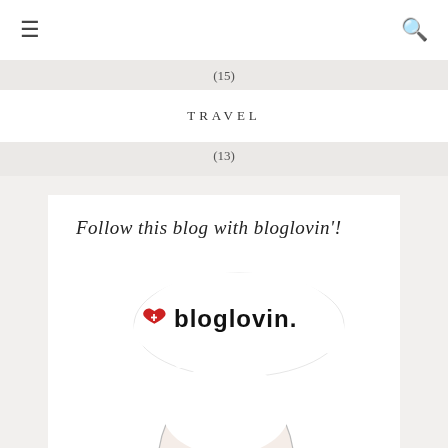≡  🔍
(15)
TRAVEL
(13)
Follow this blog with bloglovin'!
[Figure (illustration): Bloglovin logo with illustrated face of a woman with blue eyes, and text 'bloglovin.' with a red heart icon above the face]